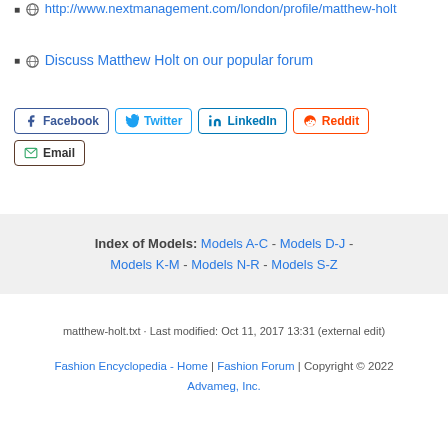http://www.nextmanagement.com/london/profile/matthew-holt
Discuss Matthew Holt on our popular forum
Facebook Twitter LinkedIn Reddit Email (social share buttons)
Index of Models: Models A-C - Models D-J - Models K-M - Models N-R - Models S-Z
matthew-holt.txt · Last modified: Oct 11, 2017 13:31 (external edit)
Fashion Encyclopedia - Home | Fashion Forum | Copyright © 2022 Advameg, Inc.